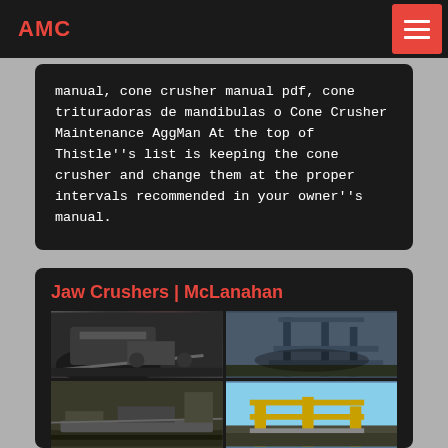AMC
manual, cone crusher manual pdf, cone trituradoras de mandibulas o Cone Crusher Maintenance AggMan At the top of Thistle"s list is keeping the cone crusher and change them at the proper intervals recommended in your owner"s manual.
Jaw Crushers | McLanahan
[Figure (photo): Four-image grid showing jaw crusher equipment in industrial/mining settings. Top-left: mobile jaw crusher with dust/debris. Top-right: industrial building/structure with crusher equipment. Bottom-left: conveyor belt and crusher machinery. Bottom-right: yellow crusher equipment against blue sky.]